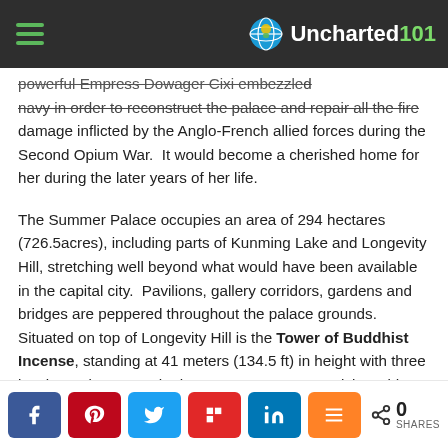Uncharted101
powerful Empress Dowager Cixi embezzled navy in order to reconstruct the palace and repair all the fire damage inflicted by the Anglo-French allied forces during the Second Opium War.  It would become a cherished home for her during the later years of her life.
The Summer Palace occupies an area of 294 hectares (726.5acres), including parts of Kunming Lake and Longevity Hill, stretching well beyond what would have been available in the capital city.  Pavilions, gallery corridors, gardens and bridges are peppered throughout the palace grounds.  Situated on top of Longevity Hill is the Tower of Buddhist Incense, standing at 41 meters (134.5 ft) in height with three levels.  Twice a month, the Empress Dowager Cixi would go to the Tower to pray.  The climb to the top is steep, but
0 SHARES